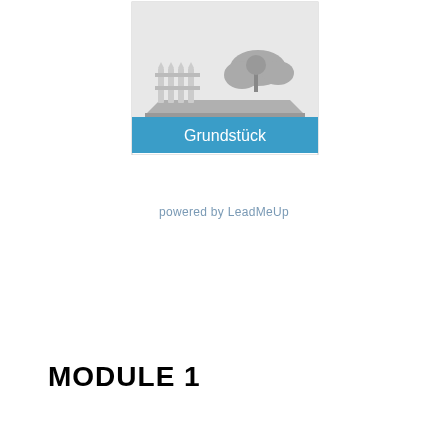[Figure (illustration): An icon/logo image showing a plot of land with a fence and a cloud/tree graphic, with a blue banner at the bottom reading 'Grundstück']
powered by LeadMeUp
MODULE 1